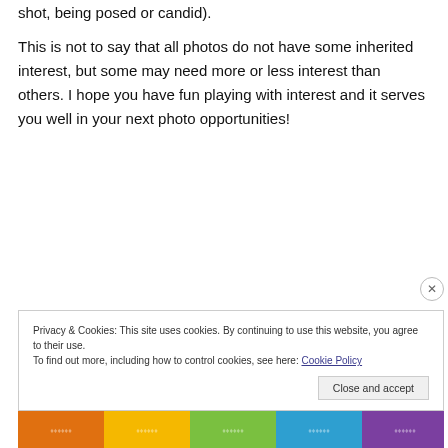shot, being posed or candid).
This is not to say that all photos do not have some inherited interest, but some may need more or less interest than others. I hope you have fun playing with interest and it serves you well in your next photo opportunities!
Privacy & Cookies: This site uses cookies. By continuing to use this website, you agree to their use.
To find out more, including how to control cookies, see here: Cookie Policy
[Figure (photo): Colorful patterned textile strip at bottom of page]